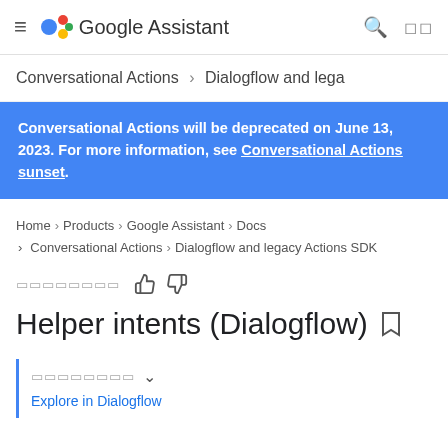≡ Google Assistant
Conversational Actions > Dialogflow and lega
Conversational Actions will be deprecated on June 13, 2023. For more information, see Conversational Actions sunset.
Home > Products > Google Assistant > Docs > Conversational Actions > Dialogflow and legacy Actions SDK
□□□□□□□□ 👍 👎
Helper intents (Dialogflow) 🔖
□□□□□□□□ ∨
Explore in Dialogflow